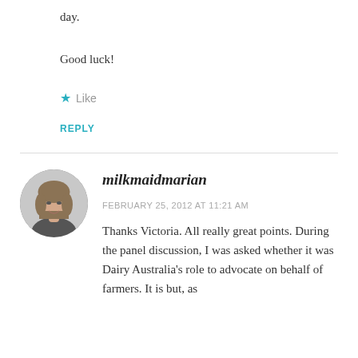day.
Good luck!
★ Like
REPLY
[Figure (photo): Circular avatar photo of a woman with shoulder-length hair, smiling, in black and white]
milkmaidmarian
FEBRUARY 25, 2012 AT 11:21 AM
Thanks Victoria. All really great points. During the panel discussion, I was asked whether it was Dairy Australia's role to advocate on behalf of farmers. It is but, as